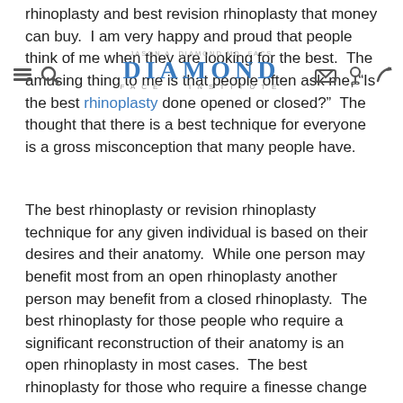DIAMOND FACE INSTITUTE
rhinoplasty and best revision rhinoplasty that money can buy.  I am very happy and proud that people think of me when they are looking for the best.  The amusing thing to me is that people often ask me, "Is the best rhinoplasty done opened or closed?"  The thought that there is a best technique for everyone is a gross misconception that many people have.
The best rhinoplasty or revision rhinoplasty technique for any given individual is based on their desires and their anatomy.  While one person may benefit most from an open rhinoplasty another person may benefit from a closed rhinoplasty.  The best rhinoplasty for those people who require a significant reconstruction of their anatomy is an open rhinoplasty in most cases.  The best rhinoplasty for those who require a finesse change to their nose is often the closed rhinoplasty technique.  However, even these general guidelines sometimes do not apply to certain people and it is up to your surgeon to determine what the best rhinoplasty